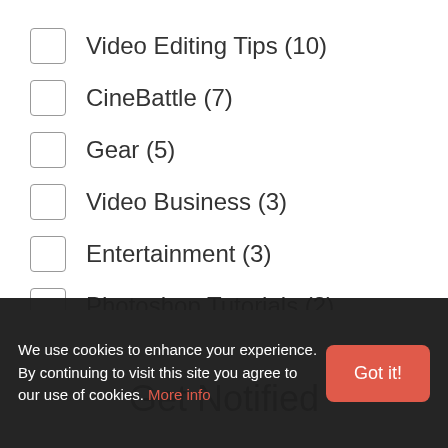Video Editing Tips (10)
CineBattle (7)
Gear (5)
Video Business (3)
Entertainment (3)
Photoshop Tutorials (2)
Cinema4D Tutorials (2)
Get Notified
We use cookies to enhance your experience. By continuing to visit this site you agree to our use of cookies. More info